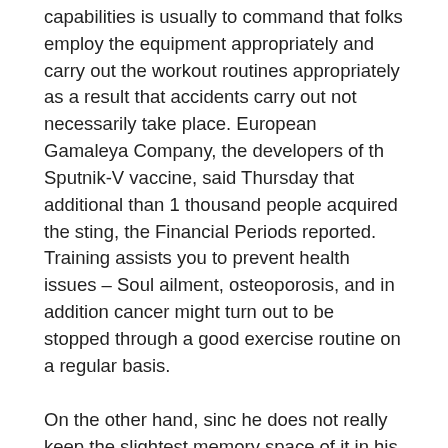capabilities is usually to command that folks employ the equipment appropriately and carry out the workout routines appropriately as a result that accidents carry out not necessarily take place. European Gamaleya Company, the developers of th Sputnik-V vaccine, said Thursday that additional than 1 thousand people acquired the sting, the Financial Periods reported. Training assists you to prevent health issues – Soul ailment, osteoporosis, and in addition cancer might turn out to be stopped through a good exercise routine on a regular basis.
On the other hand, sinc he does not really keep the slightest memory space of it in his actual life, and seems himself not really deserving of such consequence, and consequently thinks he experiences for simply no sense of guilt of his own, this alone is adequate to entitle the human spirit to the fullest consolation, sleep, and happiness in his post-mortem presence. Named Shopping back once again, going in